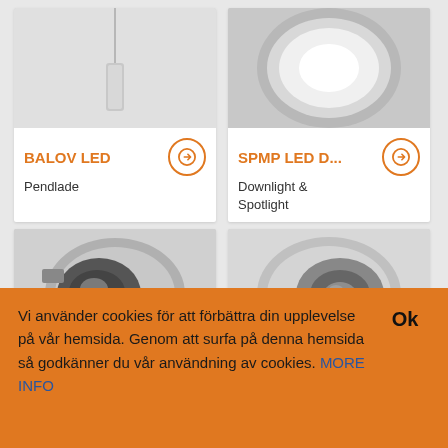[Figure (photo): Product card showing BALOV LED pendant lamp - white cylindrical pendant with thin wire against white background]
BALOV LED
Pendlade
[Figure (photo): Product card showing SPMP LED D... downlight/spotlight - circular white recessed light fixture seen from below against gray background]
SPMP LED D...
Downlight & Spotlight
[Figure (photo): Bottom left product card showing recessed spotlight - angled white circular spotlight with visible LED element]
[Figure (photo): Bottom right product card showing recessed spotlight - white circular adjustable spotlight]
Vi använder cookies för att förbättra din upplevelse på vår hemsida. Genom att surfa på denna hemsida så godkänner du vår användning av cookies. MORE INFO
Ok